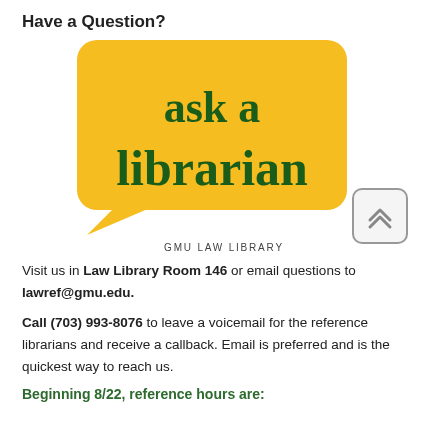Have a Question?
[Figure (logo): Yellow speech bubble graphic with 'ask a librarian' in dark green bold serif text, with 'GMU LAW LIBRARY' caption below. A scroll-to-top button overlaps the bottom right of the bubble.]
GMU LAW LIBRARY
Visit us in Law Library Room 146 or email questions to lawref@gmu.edu.
Call (703) 993-8076 to leave a voicemail for the reference librarians and receive a callback. Email is preferred and is the quickest way to reach us.
Beginning 8/22, reference hours are: